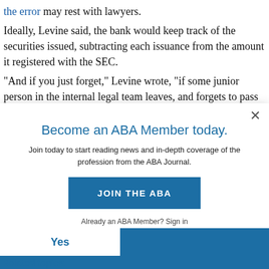the error may rest with lawyers.
Ideally, Levine said, the bank would keep track of the securities issued, subtracting each issuance from the amount it registered with the SEC.
“And if you just forget,” Levine wrote, “if some junior person in the internal legal team leaves, and forgets to pass along the
Become an ABA Member today.
Join today to start reading news and in-depth coverage of the profession from the ABA Journal.
JOIN THE ABA
Already an ABA Member? Sign in
Yes
Related topics: